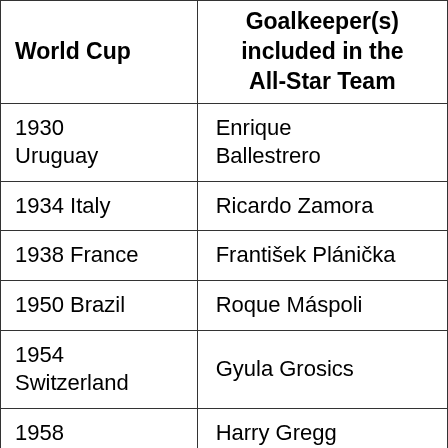| World Cup | Goalkeeper(s) included in the All-Star Team |
| --- | --- |
| 1930 Uruguay | Enrique Ballestrero |
| 1934 Italy | Ricardo Zamora |
| 1938 France | František Plánička |
| 1950 Brazil | Roque Máspoli |
| 1954 Switzerland | Gyula Grosics |
| 1958 | Harry Gregg |